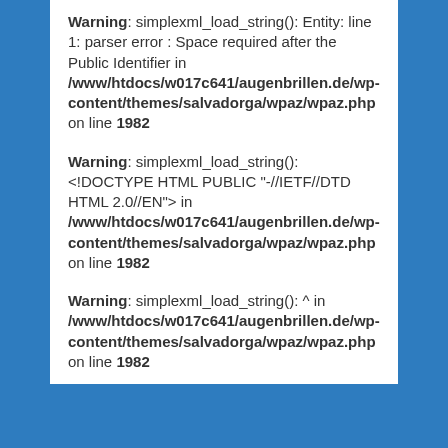Warning: simplexml_load_string(): Entity: line 1: parser error : Space required after the Public Identifier in /www/htdocs/w017c641/augenbrillen.de/wp-content/themes/salvadorga/wpaz/wpaz.php on line 1982
Warning: simplexml_load_string(): <!DOCTYPE HTML PUBLIC "-//IETF//DTD HTML 2.0//EN"> in /www/htdocs/w017c641/augenbrillen.de/wp-content/themes/salvadorga/wpaz/wpaz.php on line 1982
Warning: simplexml_load_string(): ^ in /www/htdocs/w017c641/augenbrillen.de/wp-content/themes/salvadorga/wpaz/wpaz.php on line 1982